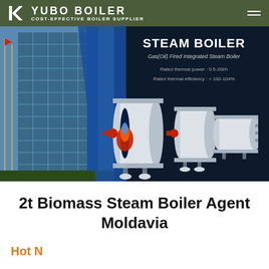YUBO BOILER — COST-EFFECTIVE BOILER SUPPLIER
[Figure (photo): Banner image showing a dark navy background with a building on the left side and three white industrial steam boilers (Gas Oil Fired Integrated Steam Boiler) on the right, with text overlay: STEAM BOILER, Gas(Oil) Fired Integrated Steam Boiler, Rated thermal power: 0.5-20t/h, Rated thermal efficiency: > 100-104%]
2t Biomass Steam Boiler Agent Moldavia
Hot News